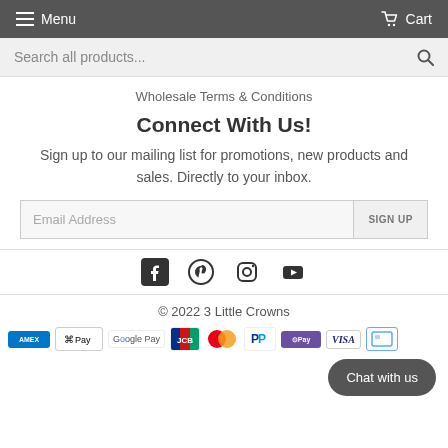Menu   Cart
Search all products...
Wholesale Terms & Conditions
Connect With Us!
Sign up to our mailing list for promotions, new products and sales. Directly to your inbox.
Email Address   SIGN UP
[Figure (illustration): Social media icons: Facebook, Pinterest, Instagram, YouTube]
© 2022 3 Little Crowns
[Figure (illustration): Payment icons: Amex, Apple Pay, Google Pay, JCB, Mastercard, PayPal, OPay, Visa, another card]